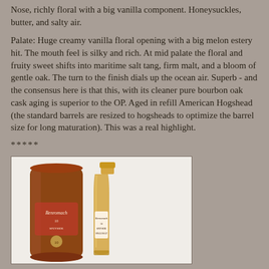Nose, richly floral with a big vanilla component. Honeysuckles, butter, and salty air.
Palate: Huge creamy vanilla floral opening with a big melon estery hit. The mouth feel is silky and rich. At mid palate the floral and fruity sweet shifts into maritime salt tang, firm malt, and a bloom of gentle oak. The turn to the finish dials up the ocean air. Superb - and the consensus here is that this, with its cleaner pure bourbon oak cask aging is superior to the OP. Aged in refill American Hogshead (the standard barrels are resized to hogsheads to optimize the barrel size for long maturation). This was a real highlight.
*****
[Figure (photo): Photo of a Benromach whisky bottle and its cylindrical metal tube/canister, both in copper/amber tones, displayed against a white background.]